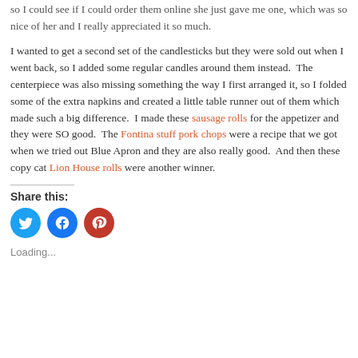so I could see if I could order them online she just gave me one, which was so nice of her and I really appreciated it so much.
I wanted to get a second set of the candlesticks but they were sold out when I went back, so I added some regular candles around them instead.  The centerpiece was also missing something the way I first arranged it, so I folded some of the extra napkins and created a little table runner out of them which made such a big difference.  I made these sausage rolls for the appetizer and they were SO good.  The Fontina stuff pork chops were a recipe that we got when we tried out Blue Apron and they are also really good.  And then these copy cat Lion House rolls were another winner.
Share this:
[Figure (other): Social share buttons: Twitter (blue circle), Facebook (blue circle), Pinterest (red circle)]
Loading...